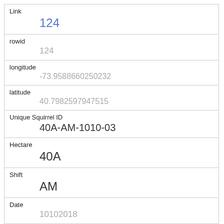| Field | Value |
| --- | --- |
| Link | 124 |
| rowid | 124 |
| longitude | -73.9588660250232 |
| latitude | 40.7982597947515 |
| Unique Squirrel ID | 40A-AM-1010-03 |
| Hectare | 40A |
| Shift | AM |
| Date | 10102018 |
| Hectare Squirrel Number | 3 |
| Age | Adult |